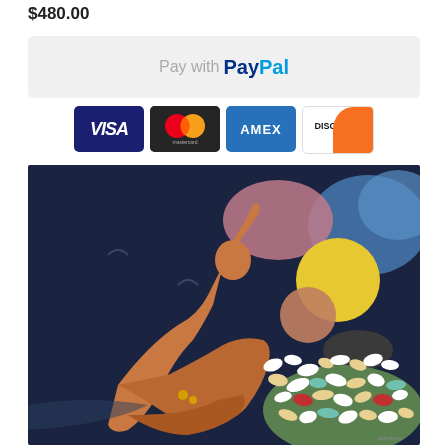$480.00
[Figure (screenshot): PayPal payment button with grey background]
[Figure (illustration): Credit card logos: VISA, Mastercard, AMEX, Discover]
[Figure (photo): Painting showing a figure reaching upward on dark blue background with yellow sun/moon, colorful mosaic elements, and earthy tones]